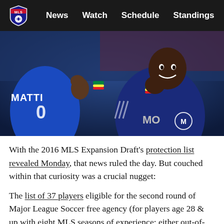MLS | News  Watch  Schedule  Standings  •••
[Figure (photo): Two Montreal Impact soccer players in blue jerseys celebrating on the field. The player on the right (jersey reads MO) is smiling and making a hand gesture. The player on the left has MATTI on the back of their jersey with number 0.]
With the 2016 MLS Expansion Draft's protection list revealed Monday, that news ruled the day. But couched within that curiosity was a crucial nugget:
The list of 37 players eligible for the second round of Major League Soccer free agency (for players age 28 & up with eight MLS seasons of experience; either out-of-